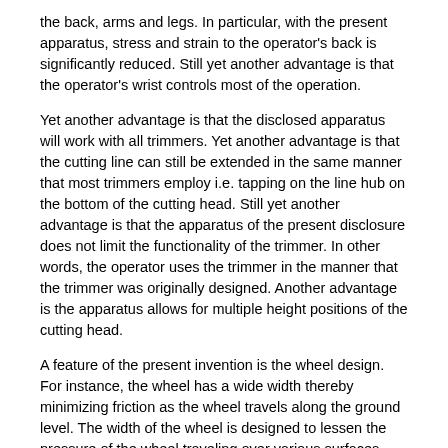the back, arms and legs. In particular, with the present apparatus, stress and strain to the operator's back is significantly reduced. Still yet another advantage is that the operator's wrist controls most of the operation.
Yet another advantage is that the disclosed apparatus will work with all trimmers. Yet another advantage is that the cutting line can still be extended in the same manner that most trimmers employ i.e. tapping on the line hub on the bottom of the cutting head. Still yet another advantage is that the apparatus of the present disclosure does not limit the functionality of the trimmer. In other words, the operator uses the trimmer in the manner that the trimmer was originally designed. Another advantage is the apparatus allows for multiple height positions of the cutting head.
A feature of the present invention is the wheel design. For instance, the wheel has a wide width thereby minimizing friction as the wheel travels along the ground level. The width of the wheel is designed to lessen the pressure of the wheel traveling over various surfaces including but not limited to grass, concrete, gravel, sand, etc. Another feature of the present invention is that in the most preferred embodiment, the wheel has three surfaces including two (2) elliptical surfaces and one (1) cylindrical surface. Yet another feature is that the wheel will not hinder or compromise normal operation of the trimmer.
Another feature is that the orientation of the cutting head relative to the